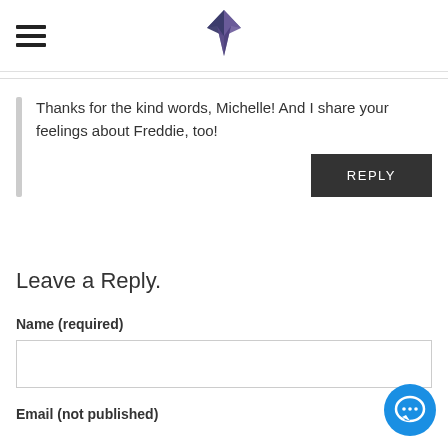[Figure (logo): Hamburger menu icon (three horizontal lines) at top left, and a purple/dark abstract bird or origami logo centered in header]
Thanks for the kind words, Michelle! And I share your feelings about Freddie, too!
REPLY
Leave a Reply.
Name (required)
Email (not published)